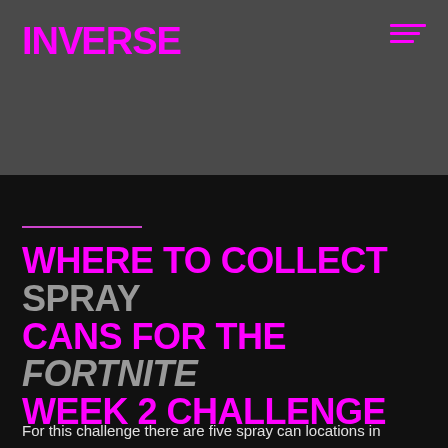INVERSE
[Figure (screenshot): Dark gray background header area with Inverse logo in magenta on top left and hamburger menu icon in magenta on top right]
WHERE TO COLLECT SPRAY CANS FOR THE FORTNITE WEEK 2 CHALLENGE
For this challenge there are five spray can locations in